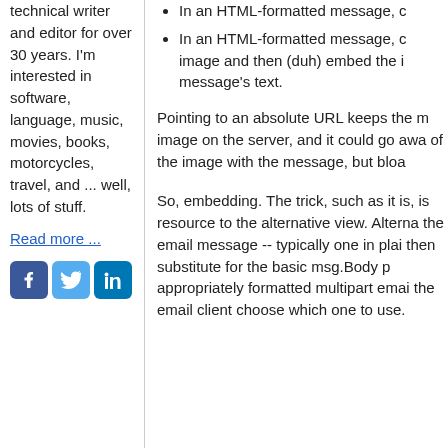technical writer and editor for over 30 years. I'm interested in software, language, music, movies, books, motorcycles, travel, and ... well, lots of stuff.
Read more ...
[Figure (illustration): Social media icons: Facebook, Twitter, LinkedIn]
In an HTML-formatted message, c
In an HTML-formatted message, c image and then (duh) embed the i message's text.
Pointing to an absolute URL keeps the m image on the server, and it could go awa of the image with the message, but bloa
So, embedding. The trick, such as it is, is resource to the alternative view. Alterna the email message -- typically one in plai then substitute for the basic msg.Body p appropriately formatted multipart emai the email client choose which one to use.